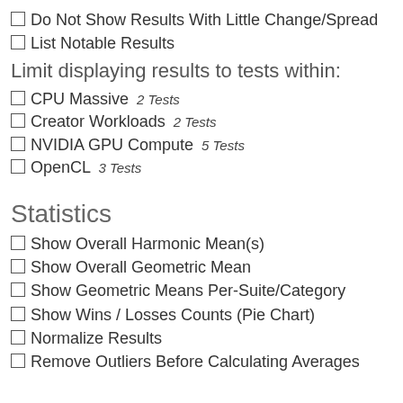Do Not Show Results With Little Change/Spread
List Notable Results
Limit displaying results to tests within:
CPU Massive 2 Tests
Creator Workloads 2 Tests
NVIDIA GPU Compute 5 Tests
OpenCL 3 Tests
Statistics
Show Overall Harmonic Mean(s)
Show Overall Geometric Mean
Show Geometric Means Per-Suite/Category
Show Wins / Losses Counts (Pie Chart)
Normalize Results
Remove Outliers Before Calculating Averages